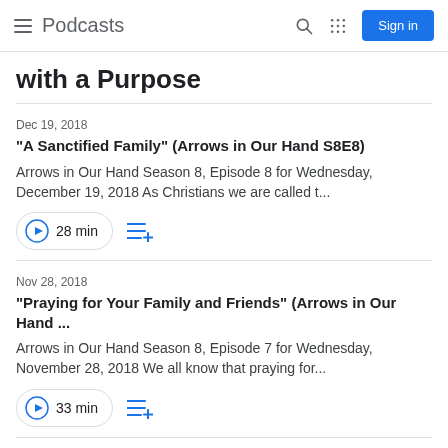Podcasts
with a Purpose
Dec 19, 2018
"A Sanctified Family" (Arrows in Our Hand S8E8)
Arrows in Our Hand Season 8, Episode 8 for Wednesday, December 19, 2018 As Christians we are called t...
28 min
Nov 28, 2018
"Praying for Your Family and Friends" (Arrows in Our Hand ...
Arrows in Our Hand Season 8, Episode 7 for Wednesday, November 28, 2018 We all know that praying for...
33 min
Nov 14, 2018
"Creating a Heart of Thankfulness" (Arrows in Our Hand S8...